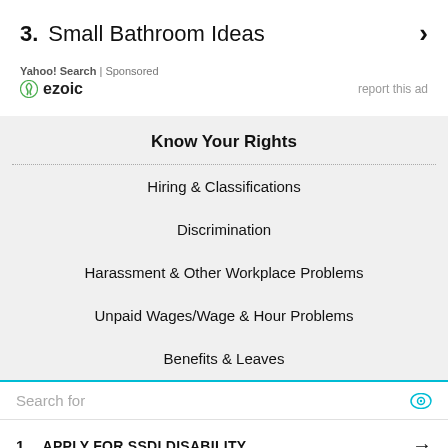3. Small Bathroom Ideas ›
Yahoo! Search | Sponsored
[Figure (logo): ezoic logo with green swirl icon and 'report this ad' link]
Know Your Rights
Hiring & Classifications
Discrimination
Harassment & Other Workplace Problems
Unpaid Wages/Wage & Hour Problems
Benefits & Leaves
Search for
1. APPLY FOR SSDI DISABILITY →
2. AFFORDABLE BATHROOM REMODELLING →